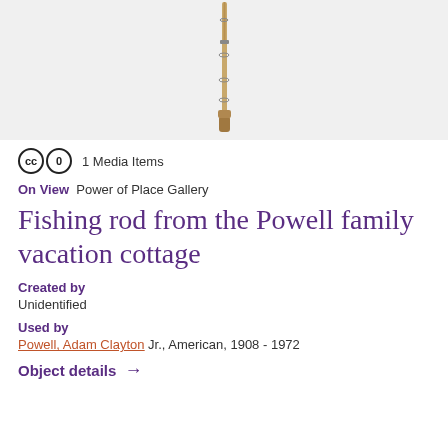[Figure (photo): A fishing rod photographed vertically against a light gray background]
1 Media Items
On View  Power of Place Gallery
Fishing rod from the Powell family vacation cottage
Created by
Unidentified
Used by
Powell, Adam Clayton Jr., American, 1908 - 1972
Object details →